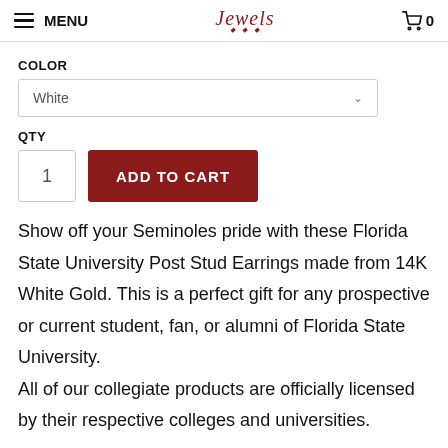MENU | Jewels logo | 0
COLOR
White
QTY
1
ADD TO CART
Show off your Seminoles pride with these Florida State University Post Stud Earrings made from 14K White Gold. This is a perfect gift for any prospective or current student, fan, or alumni of Florida State University.
All of our collegiate products are officially licensed by their respective colleges and universities.